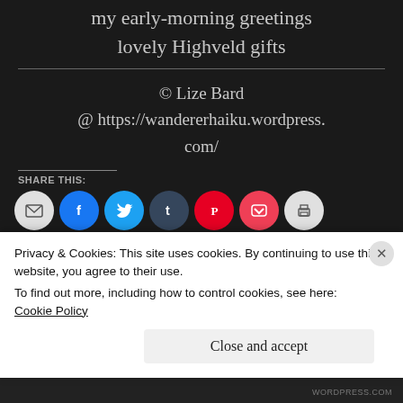my early-morning greetings
lovely Highveld gifts
© Lize Bard @ https://wandererhaiku.wordpress.com/
SHARE THIS:
[Figure (infographic): Row of social share icon buttons: email (grey), Facebook (blue), Twitter (light blue), Tumblr (dark blue), Pinterest (red), Pocket (red), Print (grey)]
[Figure (infographic): Like button and avatar thumbnails strip]
Privacy & Cookies: This site uses cookies. By continuing to use this website, you agree to their use.
To find out more, including how to control cookies, see here: Cookie Policy
Close and accept